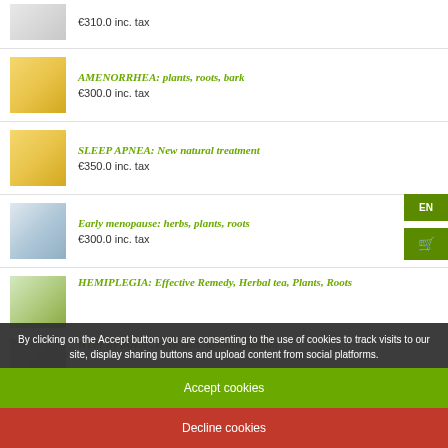€310.0 inc. tax
AMENORRHEA: plants, roots, bark — €300.0 inc. tax
SLEEP APNEA: New natural treatment — €350.0 inc. tax
Early menopause: herbs, plants, roots — €300.0 inc. tax
HEMIPLEGIA: Effective Remedy, Herbal tea, Plants, Roots
HYPERPROLACTINEMIA: herbal treatment
€215.0 inc. tax
By clicking on the Accept button you are consenting to the use of cookies to track visits to our site, display sharing buttons and upload content from social platforms.
Accept cookies
Decline cookies